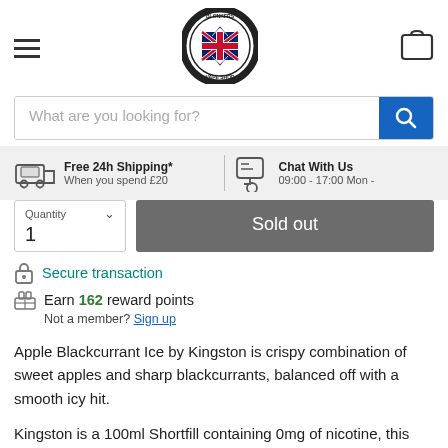[Figure (logo): Blonkers Vape Shop circular logo with UK flag in center]
What are you looking for?
Free 24h Shipping* When you spend £20
Chat With Us 09:00 - 17:00 Mon -
Quantity
1
Sold out
Secure transaction
Earn 162 reward points
Not a member? Sign up
Apple Blackcurrant Ice by Kingston is crispy combination of sweet apples and sharp blackcurrants, balanced off with a smooth icy hit.
Kingston is a 100ml Shortfill containing 0mg of nicotine, this can